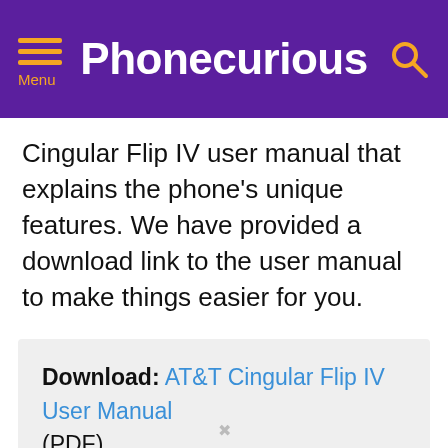Phonecurious
Cingular Flip IV user manual that explains the phone’s unique features. We have provided a download link to the user manual to make things easier for you.
Download: AT&T Cingular Flip IV User Manual (PDF)